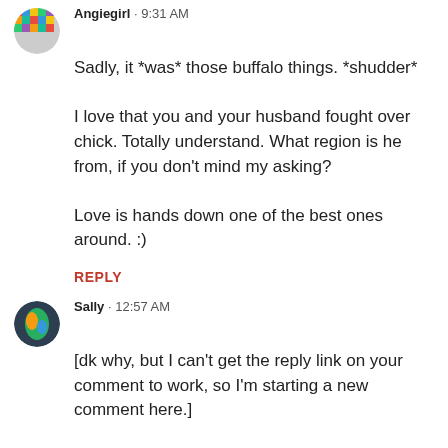Angiegirl · 9:31 AM
Sadly, it *was* those buffalo things. *shudder*

I love that you and your husband fought over chick. Totally understand. What region is he from, if you don't mind my asking?

Love is hands down one of the best ones around. :)
REPLY
Sally · 12:57 AM
[dk why, but I can't get the reply link on your comment to work, so I'm starting a new comment here.]